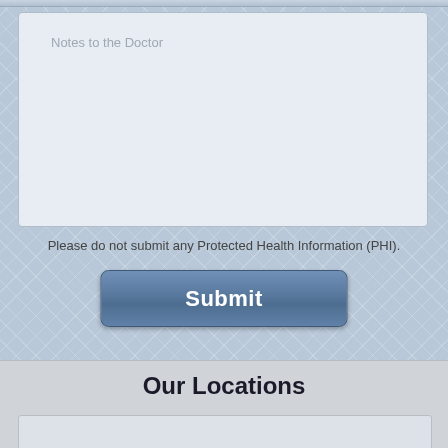Notes to the Doctor
Please do not submit any Protected Health Information (PHI).
Submit
Our Locations